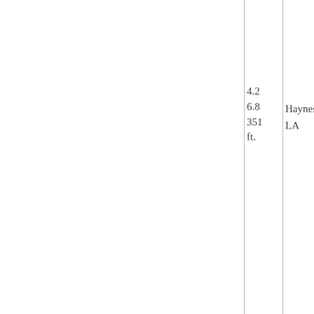|  | 4.2 |  |
|  | 6.8 | Haynesville |
|  | 351 | LA |
|  | ft. |  |